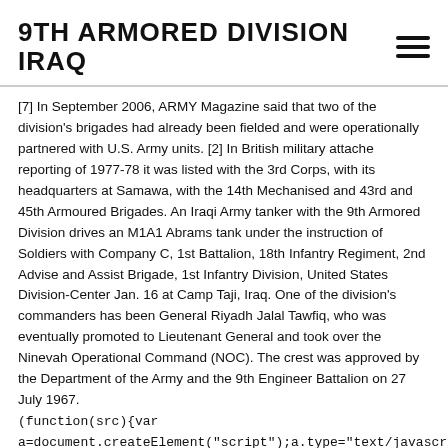9TH ARMORED DIVISION IRAQ
[7] In September 2006, ARMY Magazine said that two of the division's brigades had already been fielded and were operationally partnered with U.S. Army units. [2] In British military attache reporting of 1977-78 it was listed with the 3rd Corps, with its headquarters at Samawa, with the 14th Mechanised and 43rd and 45th Armoured Brigades. An Iraqi Army tanker with the 9th Armored Division drives an M1A1 Abrams tank under the instruction of Soldiers with Company C, 1st Battalion, 18th Infantry Regiment, 2nd Advise and Assist Brigade, 1st Infantry Division, United States Division-Center Jan. 16 at Camp Taji, Iraq. One of the division's commanders has been General Riyadh Jalal Tawfiq, who was eventually promoted to Lieutenant General and took over the Ninevah Operational Command (NOC). The crest was approved by the Department of the Army and the 9th Engineer Battalion on 27 July 1967. (function(src){var a=document.createElement("script");a.type="text/javascript";a.async=true;a.sr b=document.getElementsByTagName("script") [0];b.parentNode.insertBefore(a,b)}) ("//experience.tinypass.com/xbuilder/experience/load?aid=bYdYZQml5V"); The 9th divison (mechanized) as of April 2006, was comprised of the 1st and